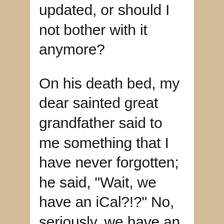updated, or should I not bother with it anymore?

On his death bed, my dear sainted great grandfather said to me something that I have never forgotten; he said, "Wait, we have an iCal?!?" No, seriously, we have an iCal? This is the first